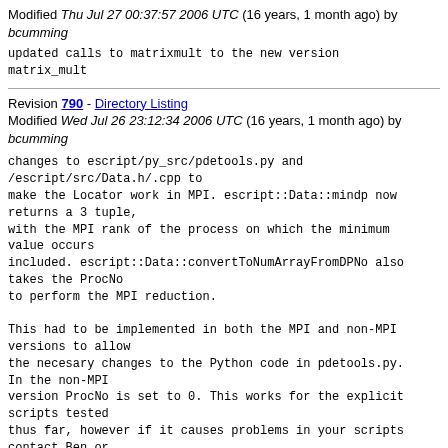Modified Thu Jul 27 00:37:57 2006 UTC (16 years, 1 month ago) by bcumming
updated calls to matrixmult to the new version
matrix_mult
Revision 790 - Directory Listing
Modified Wed Jul 26 23:12:34 2006 UTC (16 years, 1 month ago) by bcumming
changes to escript/py_src/pdetools.py and /escript/src/Data.h/.cpp to
make the Locator work in MPI. escript::Data::mindp now returns a 3 tuple,
with the MPI rank of the process on which the minimum value occurs
included. escript::Data::convertToNumArrayFromDPNo also takes the ProcNo
to perform the MPI reduction.

This had to be implemented in both the MPI and non-MPI versions to allow
the necesary changes to the Python code in pdetools.py. In the non-MPI
version ProcNo is set to 0. This works for the explicit scripts tested
thus far, however if it causes problems in your scripts contact Ben or